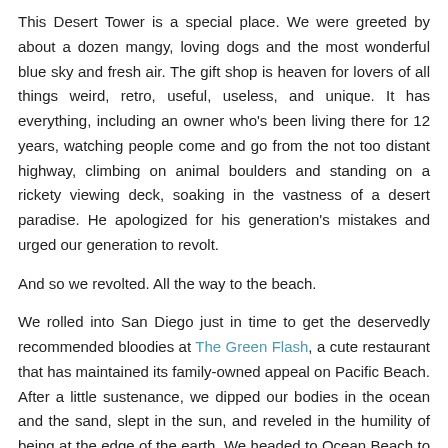This Desert Tower is a special place. We were greeted by about a dozen mangy, loving dogs and the most wonderful blue sky and fresh air. The gift shop is heaven for lovers of all things weird, retro, useful, useless, and unique. It has everything, including an owner who's been living there for 12 years, watching people come and go from the not too distant highway, climbing on animal boulders and standing on a rickety viewing deck, soaking in the vastness of a desert paradise. He apologized for his generation's mistakes and urged our generation to revolt.
And so we revolted. All the way to the beach.
We rolled into San Diego just in time to get the deservedly recommended bloodies at The Green Flash, a cute restaurant that has maintained its family-owned appeal on Pacific Beach. After a little sustenance, we dipped our bodies in the ocean and the sand, slept in the sun, and reveled in the humility of being at the edge of the earth. We headed to Ocean Beach to meet an old friend of mine, just in time to drink gin and wheat grass as we watched the sun slip behind the watery horizon.